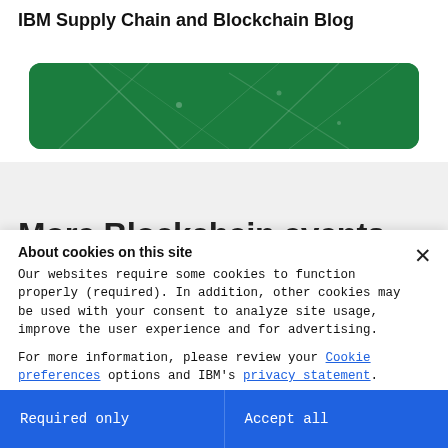IBM Supply Chain and Blockchain Blog
[Figure (illustration): Green rounded banner/card with abstract network line pattern on a white background card area]
More Blockchain events
About cookies on this site
Our websites require some cookies to function properly (required). In addition, other cookies may be used with your consent to analyze site usage, improve the user experience and for advertising.

For more information, please review your Cookie preferences options and IBM's privacy statement.
Required only
Accept all